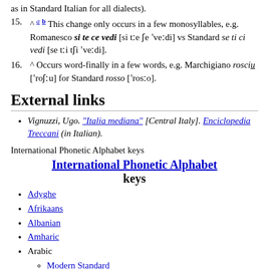as in Standard Italian for all dialects).
15. ^ a b This change only occurs in a few monosyllables, e.g. Romanesco si te ce vedi [si tːe ʃe ˈveːdi] vs Standard se ti ci vedi [se tːi tʃi ˈveːdi].
16. ^ Occurs word-finally in a few words, e.g. Marchigiano rosciu [ˈroʃːu] for Standard rosso [ˈrosːo].
External links
Vignuzzi, Ugo. "Italia mediana" [Central Italy]. Enciclopedia Treccani (in Italian).
International Phonetic Alphabet keys
International Phonetic Alphabet keys
Adyghe
Afrikaans
Albanian
Amharic
Arabic
Modern Standard
Egyptian
Hejazi